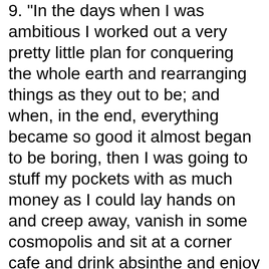9. "In the days when I was ambitious I worked out a very pretty little plan for conquering the whole earth and rearranging things as they out to be; and when, in the end, everything became so good it almost began to be boring, then I was going to stuff my pockets with as much money as I could lay hands on and creep away, vanish in some cosmopolis and sit at a corner cafe and drink absinthe and enjoy seeing how everything went to the devil as soon as I wasn't on the scene any more."
Author: Hjalmar Söderberg
10. "A lot of pop music is about stealing pocket money from children."
Author: Ian Anderson
11. "We are carrying contraband words with us, memorized, tucked away in tattered journals and stored magically on disks in Anna's left pocket. Canadian words, queer words that we spoke on-stage for money in the land of the